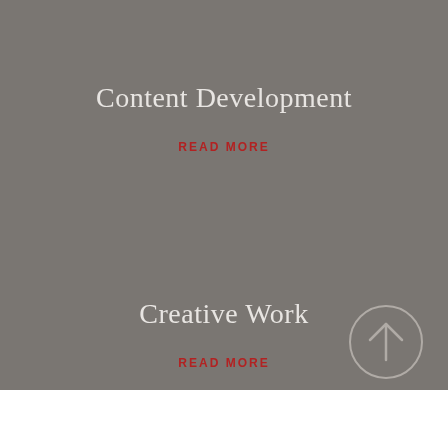Content Development
READ MORE
Creative Work
READ MORE
[Figure (illustration): Circular arrow-up button icon in gray outline with upward arrow, positioned in the lower right area of the gray section]